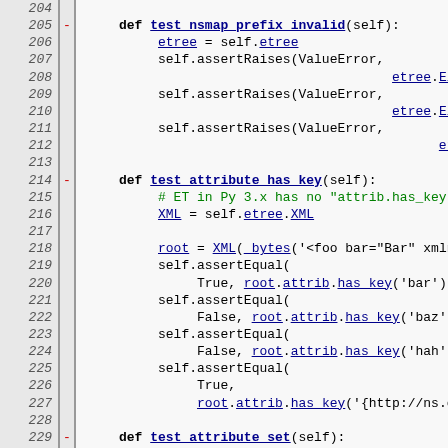[Figure (screenshot): Source code diff view showing Python test methods: test_nsmap_prefix_invalid, test_attribute_has_key, and test_attribute_set. Line numbers 204-233 visible with diff markers and syntax highlighting in monospace font.]